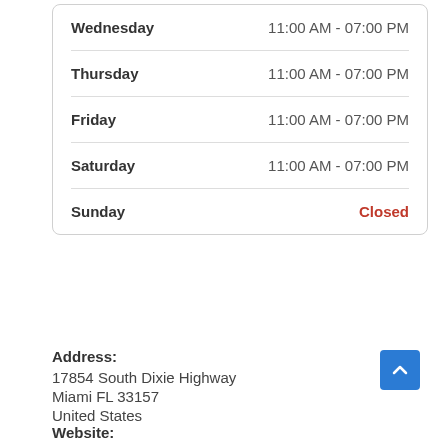| Day | Hours |
| --- | --- |
| Wednesday | 11:00 AM - 07:00 PM |
| Thursday | 11:00 AM - 07:00 PM |
| Friday | 11:00 AM - 07:00 PM |
| Saturday | 11:00 AM - 07:00 PM |
| Sunday | Closed |
Address:
17854 South Dixie Highway
Miami FL 33157
United States
Website: